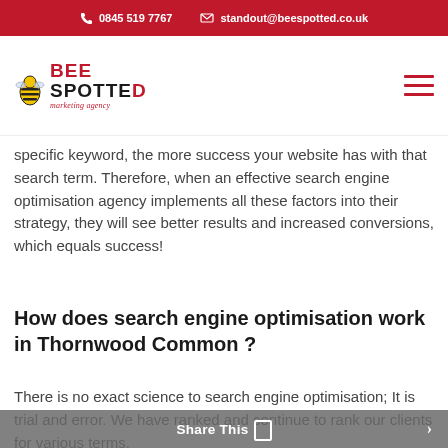📞 0845 519 7767   ✉ standout@beespotted.co.uk
[Figure (logo): BeeSpotted marketing agency logo with red and black bold text and italic red tagline]
The higher on the page you are, the more traffic you will get for that term.
specific keyword, the more success your website has with that search term. Therefore, when an effective search engine optimisation agency implements all these factors into their strategy, they will see better results and increased conversions, which equals success!
How does search engine optimisation work in Thornwood Common ?
There is no exact science to search engine optimisation; It is trial and error. We have ranked and continue to rank our clients for various terms,
Share This